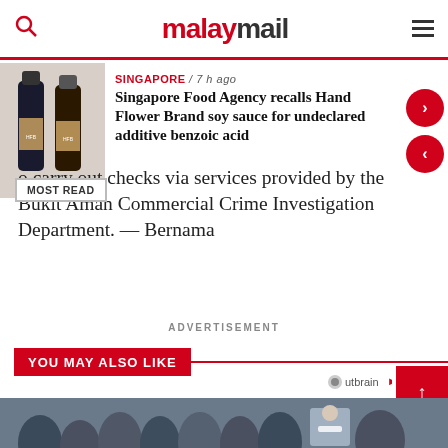malaymail
[Figure (photo): Two bottles of Hand Flower Brand soy sauce]
SINGAPORE / 7 h ago
Singapore Food Agency recalls Hand Flower Brand soy sauce for undeclared additive benzoic acid
o carry out checks via services provided by the Bukit Aman Commercial Crime Investigation Department. — Bernama
ADVERTISEMENT
YOU MAY ALSO LIKE
[Figure (photo): A crowd of people, some wearing face masks, including a man in a grey suit and white face mask]